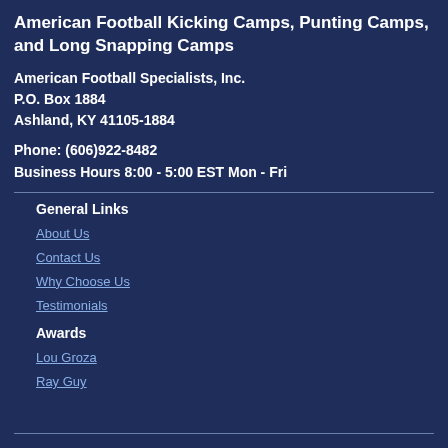American Football Kicking Camps, Punting Camps, and Long Snapping Camps
American Football Specialists, Inc.
P.O. Box 1884
Ashland, KY 41105-1884
Phone: (606)922-8482
Business Hours 8:00 - 5:00 EST Mon - Fri
General Links
About Us
Contact Us
Why Choose Us
Testimonials
Awards
Lou Groza
Ray Guy